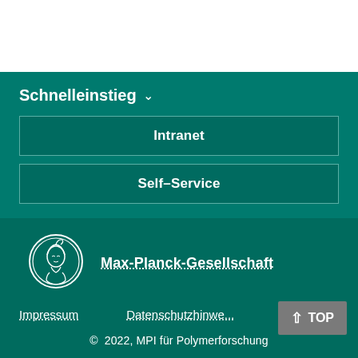Schnelleinstieg
Intranet
Self-Service
[Figure (logo): Max-Planck-Gesellschaft circular coin/medallion logo in white outline on teal background]
Max-Planck-Gesellschaft
Impressum
Datenschutzhinwe...
TOP
© 2022, MPI für Polymerforschung